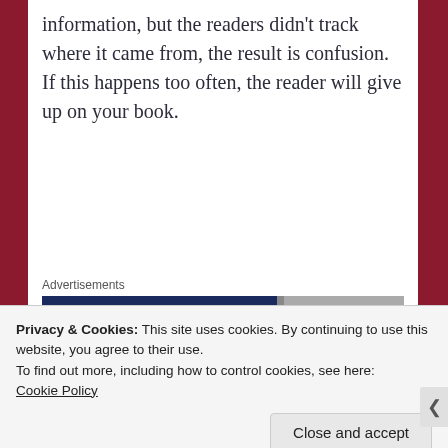information, but the readers didn't track where it came from, the result is confusion. If this happens too often, the reader will give up on your book.
[Figure (other): Advertisements banner with dark navy blue background showing stylized text and a partial photo on the right side]
Let's say last the reader knew the main character had stepped into the lobby of a
Privacy & Cookies: This site uses cookies. By continuing to use this website, you agree to their use.
To find out more, including how to control cookies, see here:
Cookie Policy